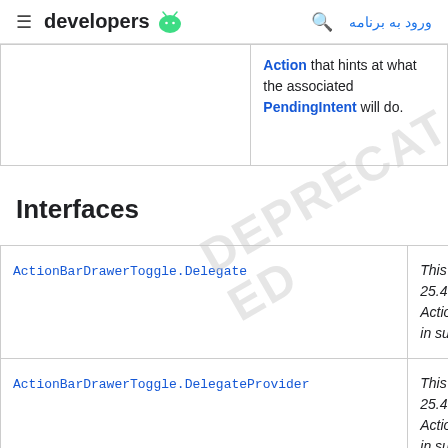developers | ورود به برنامه
|  |  |
| --- | --- |
|  | Action that hints at what the associated PendingIntent will do. |
Interfaces
| Interface | Description |
| --- | --- |
| ActionBarDrawerToggle.Delegate | This int 25.4.0. ActionB in supp |
| ActionBarDrawerToggle.DelegateProvider | This int 25.4.0. ActionB in supp |
| ActivityCompat.OnRequestPermissionsResultCallback | This int |